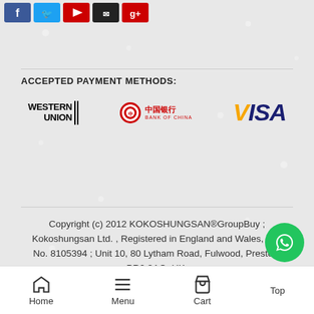[Figure (other): Social media icon buttons: Facebook (blue), Twitter (light blue), YouTube/Google+ (red), another (black), another (red)]
ACCEPTED PAYMENT METHODS:
[Figure (logo): Western Union logo, Bank of China logo, VISA logo]
Copyright (c) 2012 KOKOSHUNGSAN®GroupBuy ; Kokoshungsan Ltd. , Registered in England and Wales, UK. No. 8105394 ; Unit 10, 80 Lytham Road, Fulwood, Preston, PR2 3AQ, UK.
Home  Menu  Cart  Top